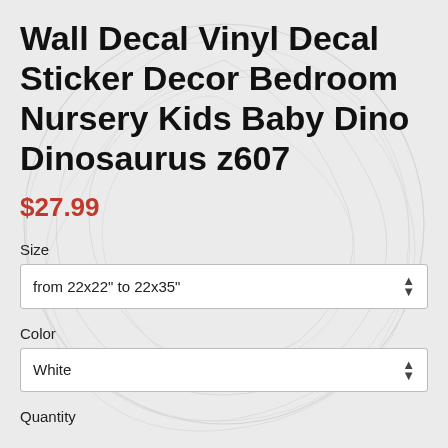Wall Decal Vinyl Decal Sticker Decor Bedroom Nursery Kids Baby Dino Dinosaurus z607
$27.99
Size
from 22x22" to 22x35"
Color
White
Quantity